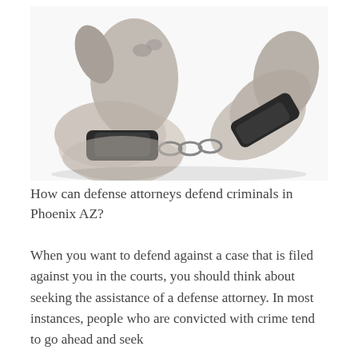[Figure (photo): Black and white photograph of two wrists in handcuffs, arms raised and pulled apart, on a white background.]
How can defense attorneys defend criminals in Phoenix AZ?
When you want to defend against a case that is filed against you in the courts, you should think about seeking the assistance of a defense attorney. In most instances, people who are convicted with crime tend to go ahead and seek